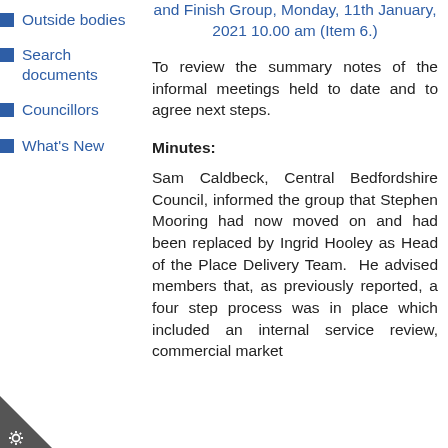Outside bodies
Search documents
Councillors
What's New
and Finish Group, Monday, 11th January, 2021 10.00 am (Item 6.)
To review the summary notes of the informal meetings held to date and to agree next steps.
Minutes:
Sam Caldbeck, Central Bedfordshire Council, informed the group that Stephen Mooring had now moved on and had been replaced by Ingrid Hooley as Head of the Place Delivery Team. He advised members that, as previously reported, a four step process was in place which included an internal service review, commercial market